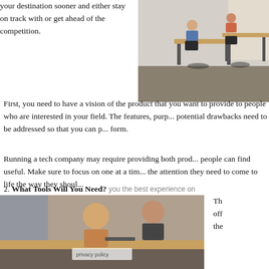your destination sooner and either stay on track with or get ahead of the competition.
[Figure (photo): Office environment with people working at standing desks]
First, you need to have a vision of the product that you want to provide to people who are interested in your field. The features, purp... potential drawbacks need to be addressed so that you can p... form.
Running a tech company may require providing both prod... people can find useful. Make sure to focus on one at a tim... the attention they need to come to life the way they shoul...
2. What Tools Will You Need?
you the best experience on our website. If you continue to use this site we will assume that you are happy with it.
[Figure (photo): Two people looking at a laptop or device together]
Th off the